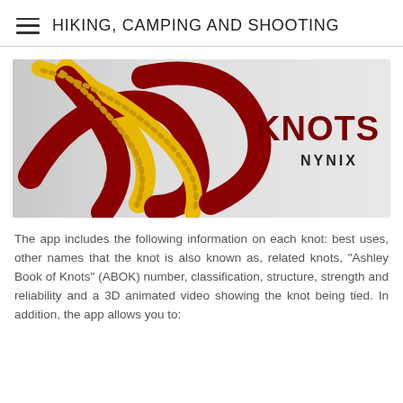HIKING, CAMPING AND SHOOTING
[Figure (illustration): Knots 3D app logo showing a red and yellow braided rope tied in a knot on a grey gradient background, with text 'KNOTS 3D' in dark red and 'NYNIX' below it.]
The app includes the following information on each knot: best uses, other names that the knot is also known as, related knots, "Ashley Book of Knots" (ABOK) number, classification, structure, strength and reliability and a 3D animated video showing the knot being tied. In addition, the app allows you to: